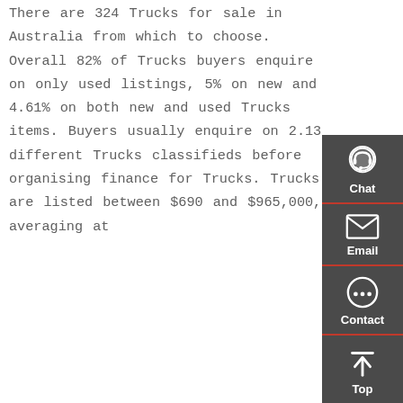There are 324 Trucks for sale in Australia from which to choose. Overall 82% of Trucks buyers enquire on only used listings, 5% on new and 4.61% on both new and used Trucks items. Buyers usually enquire on 2.13 different Trucks classifieds before organising finance for Trucks. Trucks are listed between $690 and $965,000, averaging at